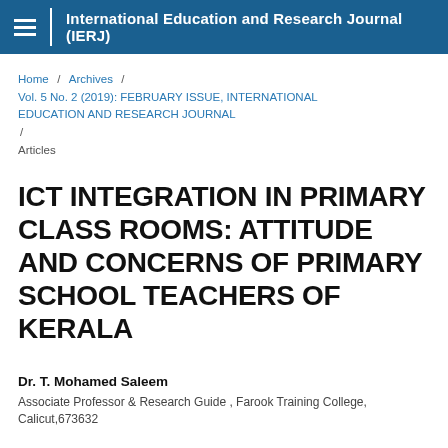International Education and Research Journal (IERJ)
Home / Archives / Vol. 5 No. 2 (2019): FEBRUARY ISSUE, INTERNATIONAL EDUCATION AND RESEARCH JOURNAL / Articles
ICT INTEGRATION IN PRIMARY CLASS ROOMS: ATTITUDE AND CONCERNS OF PRIMARY SCHOOL TEACHERS OF KERALA
Dr. T. Mohamed Saleem
Associate Professor & Research Guide , Farook Training College, Calicut,673632